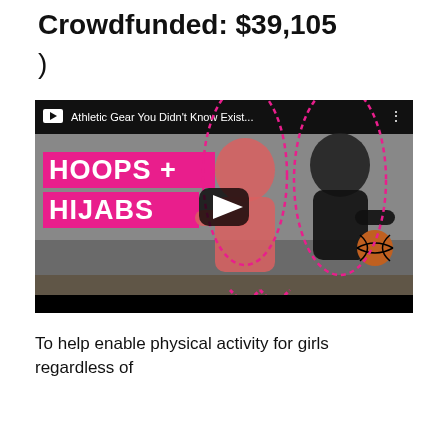Crowdfunded: $39,105
)
[Figure (screenshot): YouTube video thumbnail titled 'Athletic Gear You Didn't Know Exist...' showing two women in hijabs playing basketball. Text overlay reads 'HOOPS + HIJABS' in white bold text on pink background. A play button is centered on the video.]
To help enable physical activity for girls regardless of